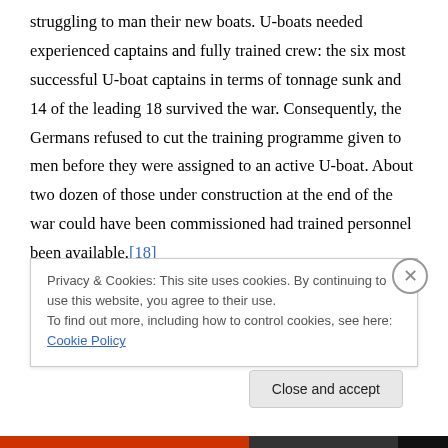struggling to man their new boats. U-boats needed experienced captains and fully trained crew: the six most successful U-boat captains in terms of tonnage sunk and 14 of the leading 18 survived the war. Consequently, the Germans refused to cut the training programme given to men before they were assigned to an active U-boat. About two dozen of those under construction at the end of the war could have been commissioned had trained personnel been available.[18]
The U-boats inflicted severe damage to Allied shipping but
Privacy & Cookies: This site uses cookies. By continuing to use this website, you agree to their use.
To find out more, including how to control cookies, see here: Cookie Policy